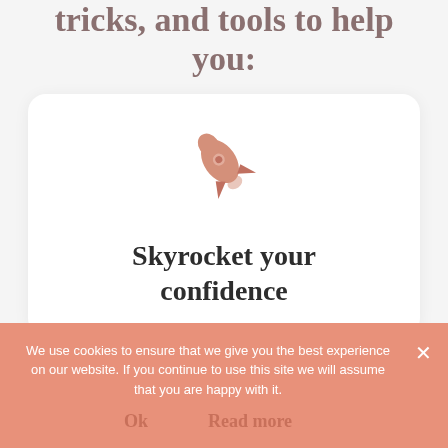tricks, and tools to help you:
[Figure (illustration): A pink/salmon colored rocket ship icon]
Skyrocket your confidence
We use cookies to ensure that we give you the best experience on our website. If you continue to use this site we will assume that you are happy with it.
Ok   Read more